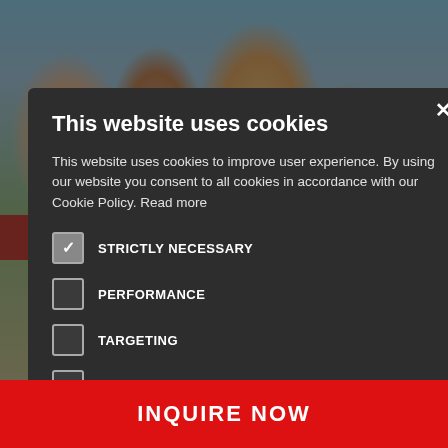[Figure (photo): Background photo of college students standing outdoors, partially visible behind a cookie consent modal overlay]
This website uses cookies
This website uses cookies to improve user experience. By using our website you consent to all cookies in accordance with our Cookie Policy. Read more
STRICTLY NECESSARY (checked)
PERFORMANCE (unchecked)
TARGETING (unchecked)
UNCLASSIFIED (unchecked)
ACCEPT ALL
DECLINE ALL
INQUIRE NOW